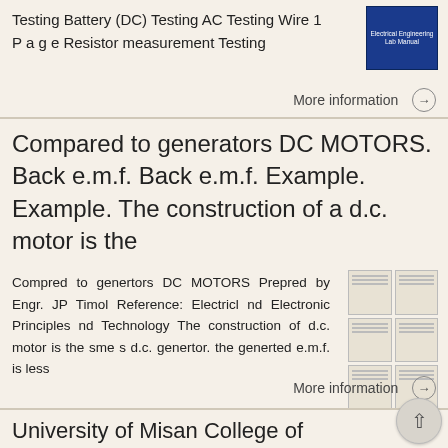Testing Battery (DC) Testing AC Testing Wire 1 P a g e Resistor measurement Testing
[Figure (photo): Blue book cover thumbnail for Electrical Engineering Lab Manual]
More information →
Compared to generators DC MOTORS. Back e.m.f. Back e.m.f. Example. Example. The construction of a d.c. motor is the
Compred to genertors DC MOTORS Prepred by Engr. JP Timol Reference: Electricl nd Electronic Principles nd Technology The construction of d.c. motor is the sme s d.c. genertor. the generted e.m.f. is less
[Figure (screenshot): Thumbnail grid of document pages showing text content]
More information →
University of Misan College of Engineering Dep. of Electrical First Stage Fundamental of Electr...